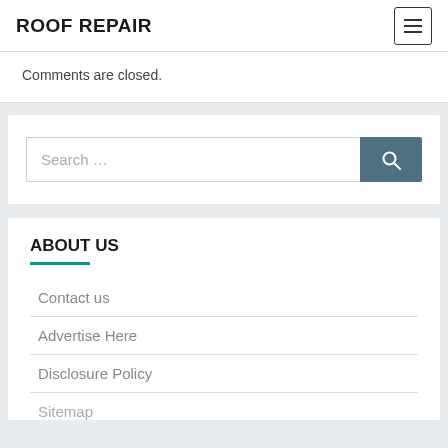ROOF REPAIR
Comments are closed.
[Figure (screenshot): Search bar with text input field showing placeholder 'Search ...' and a teal/dark search button with magnifying glass icon]
ABOUT US
Contact us
Advertise Here
Disclosure Policy
Sitemap